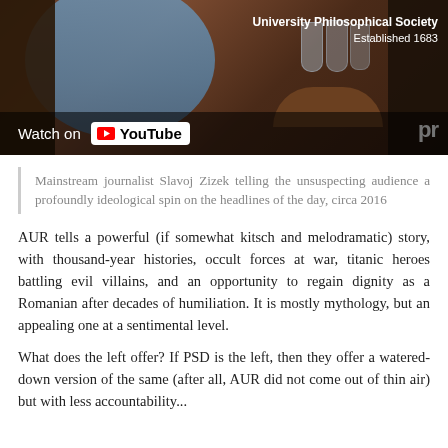[Figure (screenshot): YouTube video thumbnail showing a man in a blue shirt gesturing, seated at a table with wine glasses, at the University Philosophical Society. A 'Watch on YouTube' overlay button is shown at the bottom left.]
Mainstream journalist Slavoj Zizek telling the unsuspecting audience a profoundly ideological spin on the headlines of the day, circa 2016
AUR tells a powerful (if somewhat kitsch and melodramatic) story, with thousand-year histories, occult forces at war, titanic heroes battling evil villains, and an opportunity to regain dignity as a Romanian after decades of humiliation. It is mostly mythology, but an appealing one at a sentimental level.
What does the left offer? If PSD is the left, then they offer a watered-down version of the same (after all, AUR did not come out of thin air) but with less accountability...